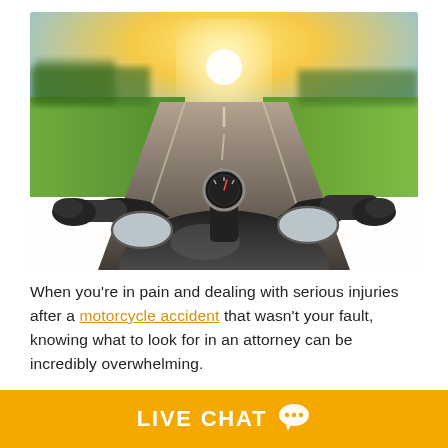[Figure (photo): First-person perspective view from a motorcycle rider on an open road, with handlebar controls and mirrors visible, green fields and trees in background, sun glare on horizon, motion blur effect suggesting high speed.]
When you’re in pain and dealing with serious injuries after a motorcycle accident that wasn’t your fault, knowing what to look for in an attorney can be incredibly overwhelming.
LIVE CHAT